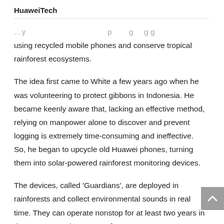HuaweiTech
using recycled mobile phones and conserve tropical rainforest ecosystems.
The idea first came to White a few years ago when he was volunteering to protect gibbons in Indonesia. He became keenly aware that, lacking an effective method, relying on manpower alone to discover and prevent logging is extremely time-consuming and ineffective. So, he began to upcycle old Huawei phones, turning them into solar-powered rainforest monitoring devices.
The devices, called 'Guardians', are deployed in rainforests and collect environmental sounds in real time. They can operate nonstop for at least two years in the extreme environments of